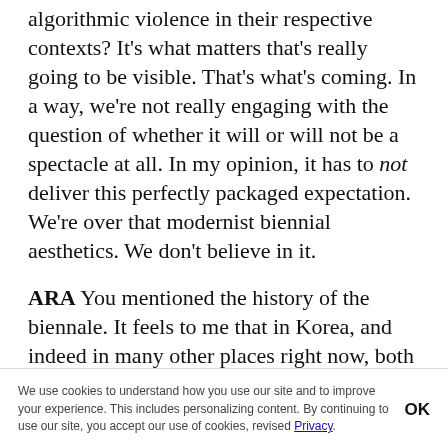algorithmic violence in their respective contexts? It's what matters that's really going to be visible. That's what's coming. In a way, we're not really engaging with the question of whether it will or will not be a spectacle at all. In my opinion, it has to not deliver this perfectly packaged expectation. We're over that modernist biennial aesthetics. We don't believe in it.
ARA You mentioned the history of the biennale. It feels to me that in Korea, and indeed in many other places right now, both its art history and its actual history are in a process of constant rewriting. There's something about that that's great and engaging and interesting because it can give you a
We use cookies to understand how you use our site and to improve your experience. This includes personalizing content. By continuing to use our site, you accept our use of cookies, revised Privacy.